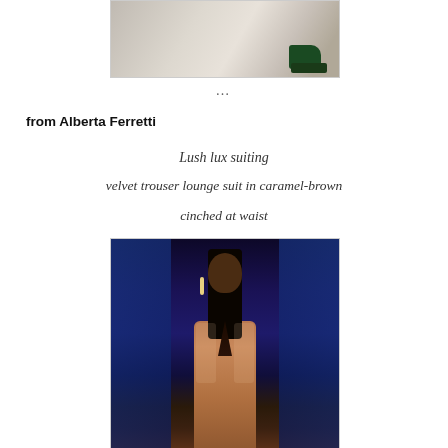[Figure (photo): Partial fashion photo showing green velvet shoes against a light background, cropped at top of page]
…
from Alberta Ferretti
Lush lux suiting
velvet trouser lounge suit in caramel-brown
cinched at waist
[Figure (photo): Fashion runway photo of a model wearing a caramel-brown velvet blazer/lounge suit, with blue-lit background]